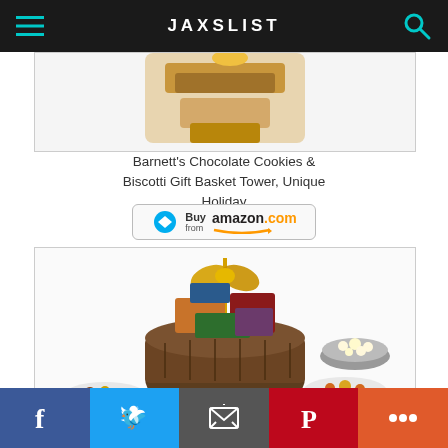JAXSLIST
[Figure (photo): Barnett's Chocolate Cookies & Biscotti Gift Basket Tower product image]
Barnett's Chocolate Cookies & Biscotti Gift Basket Tower, Unique Holiday
[Figure (other): Buy from amazon.com button]
[Figure (photo): Gourmet Gift Basket of Chocolates, Cookies and Snacks Food Gift product image]
Gourmet Gift Basket of Chocolates, Cookies and Snacks Food Gift
[Figure (other): Buy from amazon.com button]
Social share bar: Facebook, Twitter, Email, Pinterest, More